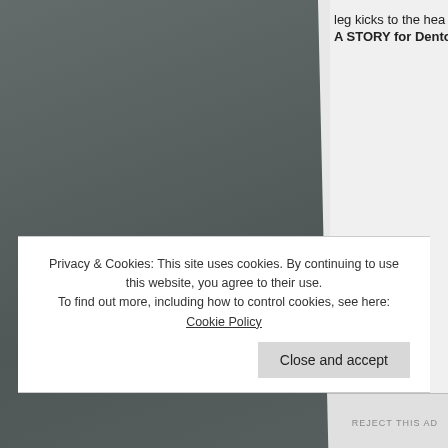[Figure (photo): Dark grey torn-edge photo or illustration occupying the left two-thirds of the page]
leg kicks to the hea
A STORY for Dento
[Figure (illustration): Book cover thumbnail with avatar circle showing 'D' and text 'END']
Privacy & Cookies: This site uses cookies. By continuing to use this website, you agree to their use.
To find out more, including how to control cookies, see here: Cookie Policy
Close and accept
REJECT THIS AD